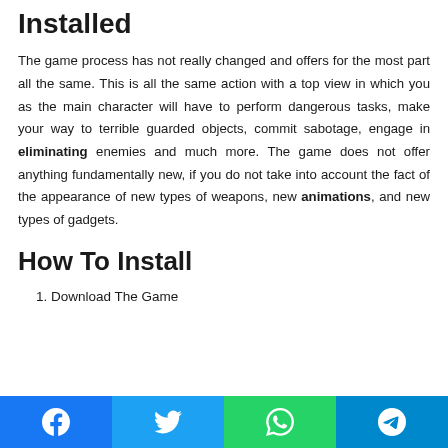Installed
The game process has not really changed and offers for the most part all the same. This is all the same action with a top view in which you as the main character will have to perform dangerous tasks, make your way to terrible guarded objects, commit sabotage, engage in eliminating enemies and much more. The game does not offer anything fundamentally new, if you do not take into account the fact of the appearance of new types of weapons, new animations, and new types of gadgets.
How To Install
1. Download The Game